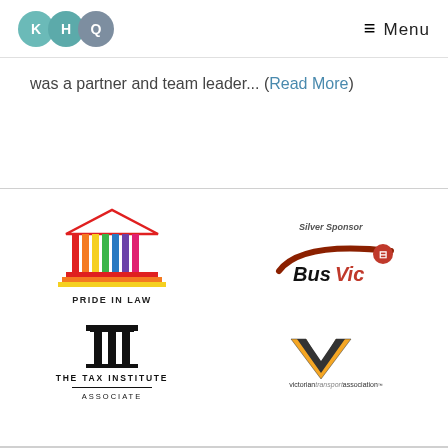KHQ — Menu
was a partner and team leader... (Read More)
[Figure (logo): Pride in Law logo — a rainbow-colored classical temple/pillared building with text PRIDE IN LAW below]
[Figure (logo): BusVic Silver Sponsor logo — stylized bus swoosh with BusVic text and bus stop icon]
[Figure (logo): The Tax Institute Associate logo — black pillars mark with THE TAX INSTITUTE ASSOCIATE text]
[Figure (logo): Victorian Transport Association logo — orange/dark V-shape chevron with victorian transport association text]